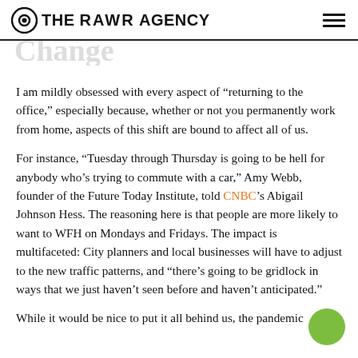THE RAWR AGENCY
I am mildly obsessed with every aspect of “returning to the office,” especially because, whether or not you permanently work from home, aspects of this shift are bound to affect all of us.
For instance, “Tuesday through Thursday is going to be hell for anybody who’s trying to commute with a car,” Amy Webb, founder of the Future Today Institute, told CNBC’s Abigail Johnson Hess. The reasoning here is that people are more likely to want to WFH on Mondays and Fridays. The impact is multifaceted: City planners and local businesses will have to adjust to the new traffic patterns, and “there’s going to be gridlock in ways that we just haven’t seen before and haven’t anticipated.”
While it would be nice to put it all behind us, the pandemic